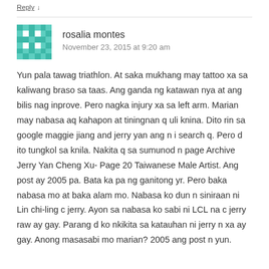Reply ↓
rosalia montes
November 23, 2015 at 9:20 am
Yun pala tawag triathlon. At saka mukhang may tattoo xa sa kaliwang braso sa taas. Ang ganda ng katawan nya at ang bilis nag inprove. Pero nagka injury xa sa left arm. Marian may nabasa aq kahapon at tiningnan q uli knina. Dito rin sa google maggie jiang and jerry yan ang n i search q. Pero d ito tungkol sa knila. Nakita q sa sumunod n page Archive Jerry Yan Cheng Xu- Page 20 Taiwanese Male Artist. Ang post ay 2005 pa. Bata ka pa ng ganitong yr. Pero baka nabasa mo at baka alam mo. Nabasa ko dun n siniraan ni Lin chi-ling c jerry. Ayon sa nabasa ko sabi ni LCL na c jerry raw ay gay. Parang d ko nkikita sa katauhan ni jerry n xa ay gay. Anong masasabi mo marian? 2005 ang post n yun.